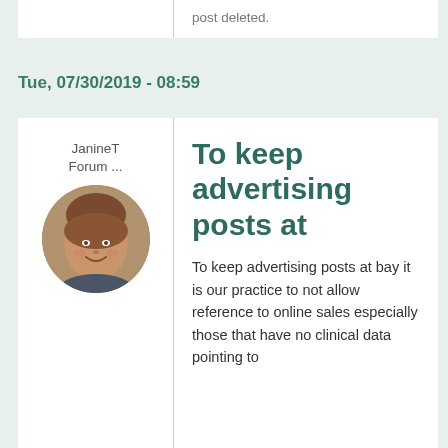post deleted.
Log in or register to post comments
Tue, 07/30/2019 - 08:59
JanineT
Forum ...
[Figure (photo): Circular avatar photo of a woman with short brown hair, smiling, against a light background.]
To keep advertising posts at
To keep advertising posts at bay it is our practice to not allow reference to online sales especially those that have no clinical data pointing to